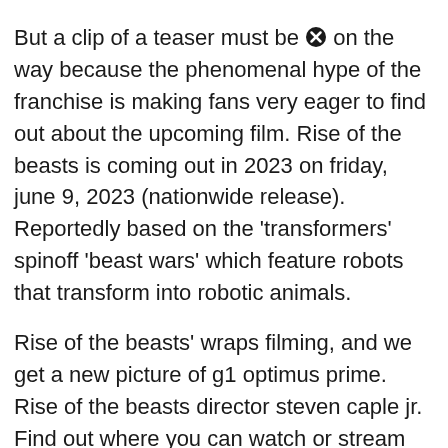But a clip of a teaser must be [X] on the way because the phenomenal hype of the franchise is making fans very eager to find out about the upcoming film. Rise of the beasts is coming out in 2023 on friday, june 9, 2023 (nationwide release). Reportedly based on the 'transformers' spinoff 'beast wars' which feature robots that transform into robotic animals.
Rise of the beasts' wraps filming, and we get a new picture of g1 optimus prime. Rise of the beasts director steven caple jr. Find out where you can watch or stream this action film in english on digit binge.
Rise of the beasts opens in theaters in the summer of 2022, it will take audiences back to 1994 new york city (though parts of the film will take pla[X] in peru), where they will.